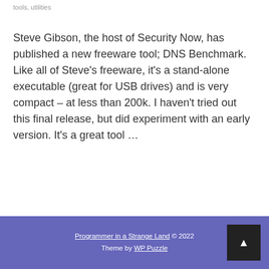tools, utilities
Steve Gibson, the host of Security Now, has published a new freeware tool; DNS Benchmark.  Like all of Steve's freeware, it's a stand-alone executable (great for USB drives) and is very compact – at less than 200k. I haven't tried out this final release, but did experiment with an early version.  It's a great tool …
Read more ▶
Programmer in a Strange Land © 2022
Theme by WP Puzzle